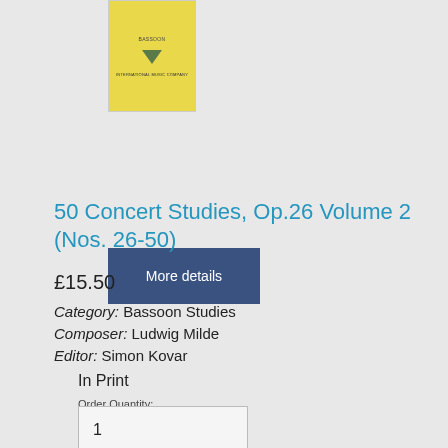[Figure (illustration): Yellow book cover with a green downward-pointing triangle in the center and small text at top and bottom]
More details
50 Concert Studies, Op.26 Volume 2 (Nos. 26-50)
£15.50
Category: Bassoon Studies
Composer: Ludwig Milde
Editor: Simon Kovar
In Print
Order Quantity:
1
Add to basket